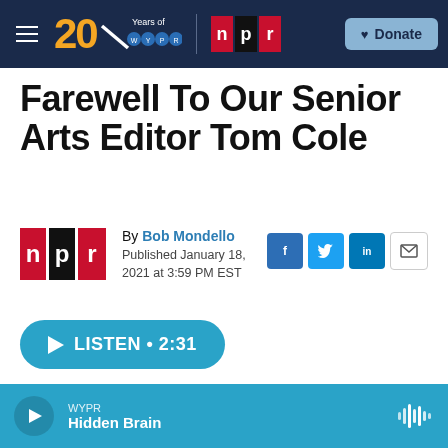[Figure (screenshot): WYPR 20 Years navigation bar with hamburger menu, WYPR 20th anniversary logo, NPR logo, and Donate button on dark navy background]
Farewell To Our Senior Arts Editor Tom Cole
By Bob Mondello
Published January 18, 2021 at 3:59 PM EST
[Figure (logo): NPR logo badge (red, black, white rectangles with n, p, r letters)]
[Figure (infographic): Social share buttons: Facebook (f), Twitter (bird), LinkedIn (in), Email (envelope)]
LISTEN • 2:31
WYPR
Hidden Brain